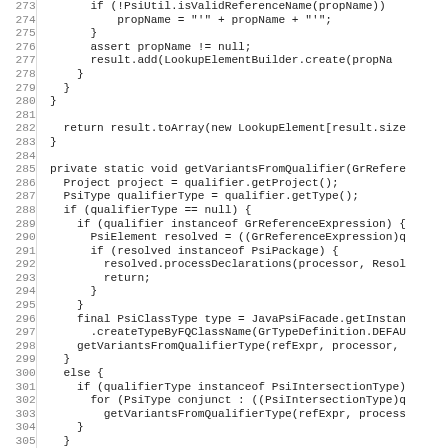[Figure (screenshot): Source code listing (Java) showing lines 273-305, including methods getVariantsFromQualifier with logic for qualifier type checking, PsiPackage, PsiClassType, PsiIntersectionType handling]